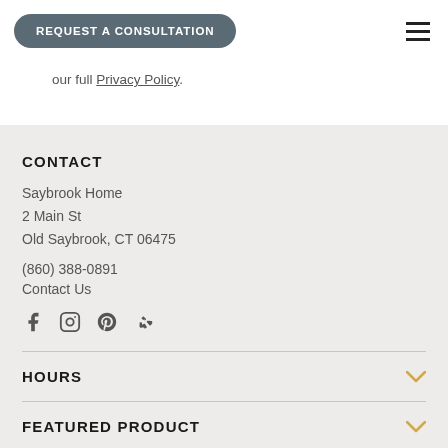REQUEST A CONSULTATION
our full Privacy Policy.
CONTACT
Saybrook Home
2 Main St
Old Saybrook, CT 06475
(860) 388-0891
Contact Us
[Figure (infographic): Social media icons: Facebook, Instagram, Pinterest, Yelp]
HOURS
FEATURED PRODUCT